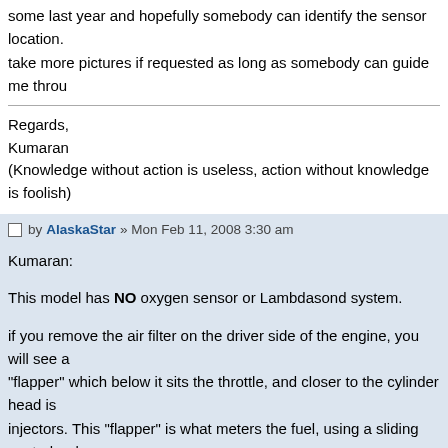some last year and hopefully somebody can identify the sensor location. take more pictures if requested as long as somebody can guide me throu
Regards,
Kumaran
(Knowledge without action is useless, action without knowledge is foolish)
by AlaskaStar » Mon Feb 11, 2008 3:30 am
Kumaran:
This model has NO oxygen sensor or Lambdasond system.
if you remove the air filter on the driver side of the engine, you will see a "flapper" which below it sits the throttle, and closer to the cylinder head is injectors. This "flapper" is what meters the fuel, using a sliding control rod changes the position of the fuel metering block. if you wish to put in less f pull the "flapper" closed, but keep in mind that this will restrict your air as maybe adjusting the fuel metering block would help.
I'll rummage through my library (I acquired ALL the DEALERSHIP SERVI BOOKS from the college when they switched to computer, and have DEA SERVICE MANUALS for every make and model back to 1938, Foreign, D and otherwise weird) and see what I can find for you as how to re-calibra metering system, and if all else fails, put it back the way it was before you